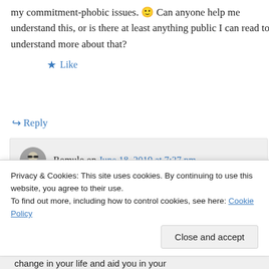my commitment-phobic issues. 🙂 Can anyone help me understand this, or is there at least anything public I can read to understand more about that?
★ Like
↪ Reply
Romulo on June 18, 2019 at 7:37 pm
Hello dear Gaunilo, 93
Privacy & Cookies: This site uses cookies. By continuing to use this website, you agree to their use.
To find out more, including how to control cookies, see here: Cookie Policy
Close and accept
change in your life and aid you in your